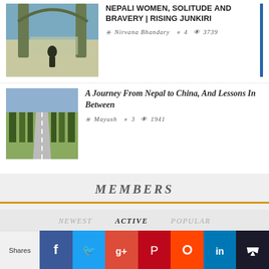[Figure (photo): Article thumbnail: woman sitting at temple overlooking city, Nepal]
NEPALI WOMEN, SOLITUDE AND BRAVERY | RISING JUNKIRI
Nirvana Bhandary  4  3739
[Figure (photo): Article thumbnail: tree-lined road, journey Nepal to China]
A Journey From Nepal to China, And Lessons In Between
Mayush  3  1941
MEMBERS
NEWEST   ACTIVE   POPULAR
Ronzana
Shares